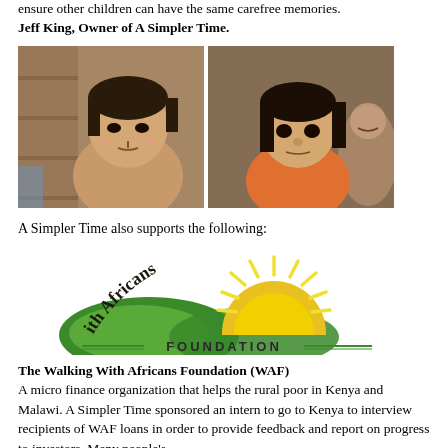ensure other children can have the same carefree memories. Jeff King, Owner of A Simpler Time.
[Figure (photo): Two photos side by side of young Filipino/Asian children. Left: a young girl with a cleft lip, shirtless, smiling. Right: a young girl with dark hair, wearing an orange top, with an adult partially visible behind her.]
A Simpler Time also supports the following:
[Figure (logo): Walking With Africans Foundation logo. Features curved green hills/landscape, a yellow sun with rays, and stylized text reading 'Walking With Africans' in an arc, with 'FOUNDATION' below flanked by decorative lines.]
The Walking With Africans Foundation (WAF) A micro finance organization that helps the rural poor in Kenya and Malawi. A Simpler Time sponsored an intern to go to Kenya to interview recipients of WAF loans in order to provide feedback and report on progress to investors. Many people's